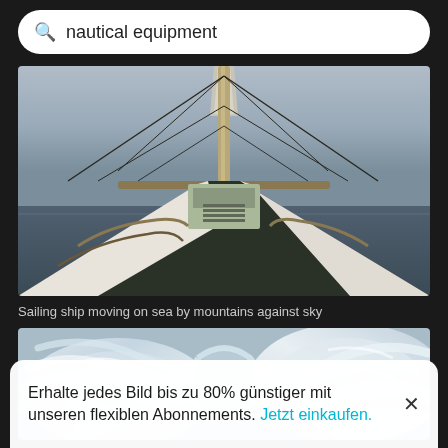nautical equipment
[Figure (photo): Sailing ship bow moving on sea with mast and rigging visible against overcast sky]
Sailing ship moving on sea by mountains against sky
[Figure (photo): Close-up of white braided nautical ropes coiled together]
Erhalte jedes Bild bis zu 80% günstiger mit unseren flexiblen Abonnements. Jetzt einkaufen.